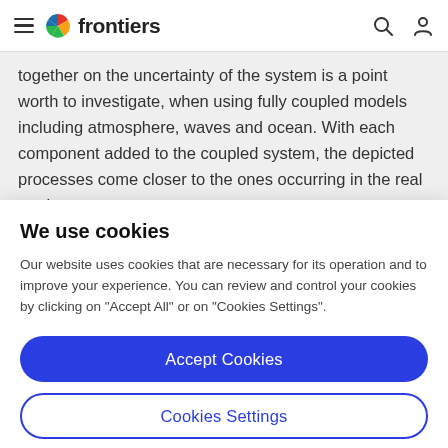frontiers
together on the uncertainty of the system is a point worth to investigate, when using fully coupled models including atmosphere, waves and ocean. With each component added to the coupled system, the depicted processes come closer to the ones occurring in the real earth
We use cookies
Our website uses cookies that are necessary for its operation and to improve your experience. You can review and control your cookies by clicking on "Accept All" or on "Cookies Settings".
Accept Cookies
Cookies Settings